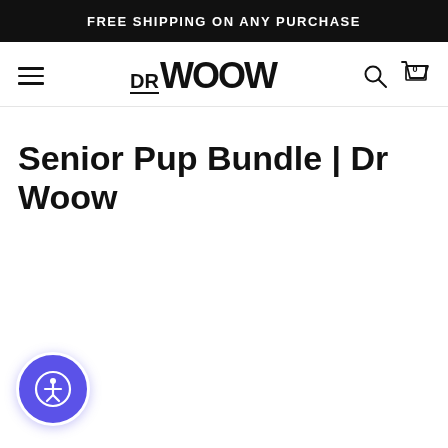FREE SHIPPING ON ANY PURCHASE
[Figure (logo): Dr Woow brand logo with hamburger menu, search icon, and cart icon showing 0 items]
Senior Pup Bundle | Dr Woow
[Figure (illustration): Accessibility widget button - circular purple button with person/accessibility icon]